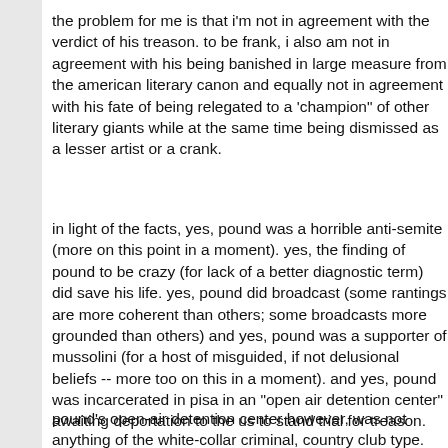the problem for me is that i'm not in agreement with the verdict of his treason. to be frank, i also am not in agreement with his being banished in large measure from the american literary canon and equally not in agreement with his fate of being relegated to a 'champion" of other literary giants while at the same time being dismissed as a lesser artist or a crank.
in light of the facts, yes, pound was a horrible anti-semite (more on this point in a moment). yes, the finding of pound to be crazy (for lack of a better diagnostic term) did save his life. yes, pound did broadcast (some rantings are more coherent than others; some broadcasts more grounded than others) and yes, pound was a supporter of mussolini (for a host of misguided, if not delusional beliefs -- more too on this in a moment). and yes, pound was incarcerated in pisa in an "open air detention center" awaiting deportation to the us to stand trial for treason.
pound's open-air detention center however, was not anything of the white-collar criminal, country club type. hardly. pound was jailed in an empty zoo. pound was jailed outdoors in an animal's cage. and for the record, this detention center was home to other criminals (some for violent crime, murder, rape, etc.). some of